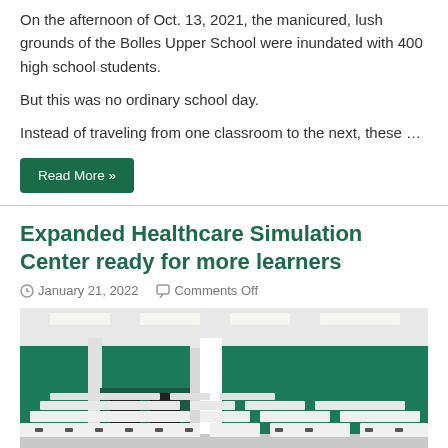On the afternoon of Oct. 13, 2021, the manicured, lush grounds of the Bolles Upper School were inundated with 400 high school students.
But this was no ordinary school day.
Instead of traveling from one classroom to the next, these …
Read More »
Expanded Healthcare Simulation Center ready for more learners
January 21, 2022   Comments Off
[Figure (photo): Interior photo of a healthcare simulation classroom with rows of white tables and chairs, dark teal/green accent walls, and fluorescent ceiling lighting.]